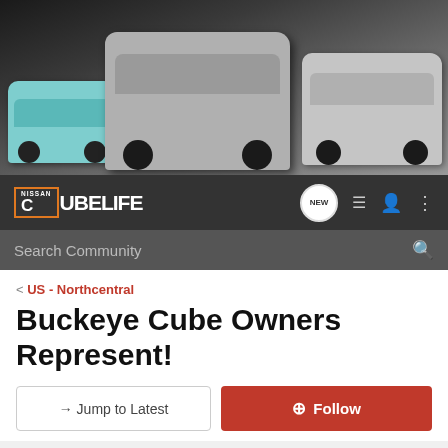[Figure (photo): Hero banner image showing three Nissan Cube cars in different colors (teal, silver, gray) against a dark background]
[Figure (logo): Nissan CubeLife forum logo with orange bracket, white text on dark navbar]
Search Community
< US - Northcentral
Buckeye Cube Owners Represent!
→ Jump to Latest
+ Follow
1 - 20 of 22 Posts
1 of 2
Nigal · Registered